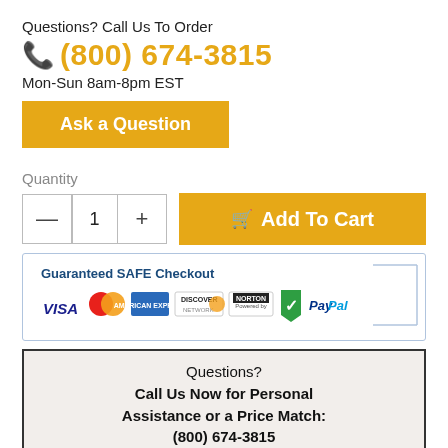Questions? Call Us To Order
(800) 674-3815
Mon-Sun 8am-8pm EST
Ask a Question
Quantity
Add To Cart
[Figure (infographic): Guaranteed SAFE Checkout badge with payment logos: VISA, MasterCard, American Express, Discover, Norton, Shield, PayPal]
Questions? Call Us Now for Personal Assistance or a Price Match: (800) 674-3815 - Fast and Free Shipping - No Sales Tax - Lowest Price Guaranteed